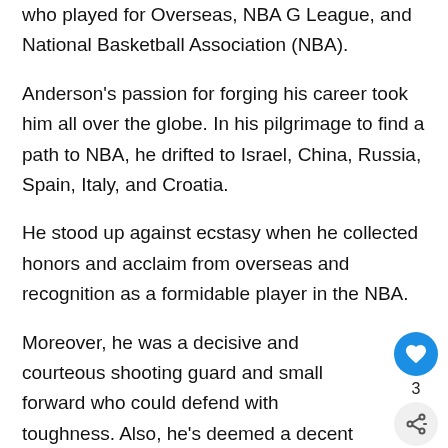who played for Overseas, NBA G League, and National Basketball Association (NBA).
Anderson's passion for forging his career took him all over the globe. In his pilgrimage to find a path to NBA, he drifted to Israel, China, Russia, Spain, Italy, and Croatia.
He stood up against ecstasy when he collected honors and acclaim from overseas and recognition as a formidable player in the NBA.
Moreover, he was a decisive and courteous shooting guard and small forward who could defend with toughness. Also, he's deemed a decent